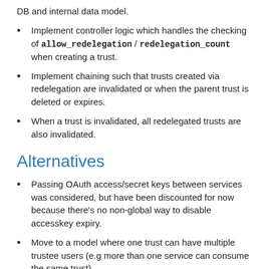DB and internal data model.
Implement controller logic which handles the checking of allow_redelegation / redelegation_count when creating a trust.
Implement chaining such that trusts created via redelegation are invalidated or when the parent trust is deleted or expires.
When a trust is invalidated, all redelegated trusts are also invalidated.
Alternatives
Passing OAuth access/secret keys between services was considered, but have been discounted for now because there's no non-global way to disable accesskey expiry.
Move to a model where one trust can have multiple trustee users (e.g more than one service can consume the same trust).
Data Model Impact
One new DB column and item in the data structure representing a